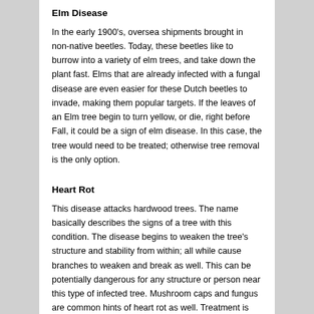Elm Disease
In the early 1900's, oversea shipments brought in non-native beetles. Today, these beetles like to burrow into a variety of elm trees, and take down the plant fast. Elms that are already infected with a fungal disease are even easier for these Dutch beetles to invade, making them popular targets. If the leaves of an Elm tree begin to turn yellow, or die, right before Fall, it could be a sign of elm disease. In this case, the tree would need to be treated; otherwise tree removal is the only option.
Heart Rot
This disease attacks hardwood trees. The name basically describes the signs of a tree with this condition. The disease begins to weaken the tree’s structure and stability from within; all while cause branches to weaken and break as well. This can be potentially dangerous for any structure or person near this type of infected tree. Mushroom caps and fungus are common hints of heart rot as well. Treatment is possible, but very complicated.